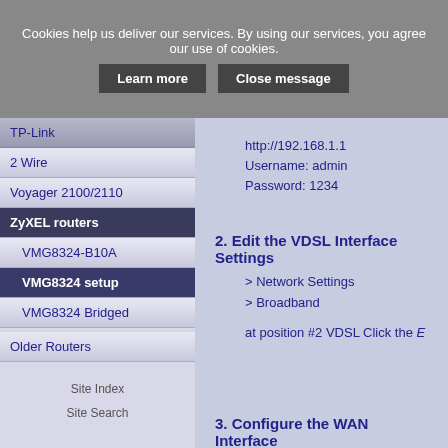Cookies help us deliver our services. By using our services, you agree our use of cookies. Learn more  Close message
TP-Link
2 Wire
Voyager 2100/2110
ZyXEL routers
VMG8324-B10A
VMG8324 setup
VMG8324 Bridged
Older Routers
Site Index
Site Search
http://192.168.1.1
Username: admin
Password: 1234
2. Edit the VDSL Interface Settings
> Network Settings
> Broadband
at position #2 VDSL Click the E
3. Configure the WAN Interface
You will now be presented with a
In here you will need to enter yo
you have these details to hand